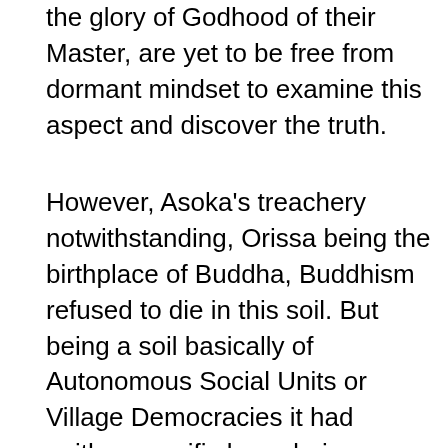the glory of Godhood of their Master, are yet to be free from dormant mindset to examine this aspect and discover the truth.
However, Asoka's treachery notwithstanding, Orissa being the birthplace of Buddha, Buddhism refused to die in this soil. But being a soil basically of Autonomous Social Units or Village Democracies it had neither specific boundaries nor a common, united, strong and systematic war-force to defend whatever could be its geographical limits. As a result, non-Oriya invaders with avowed motive to obliterate Buddhism by destroying it in its place of origin were trespassing into the Oriya speaking tracks